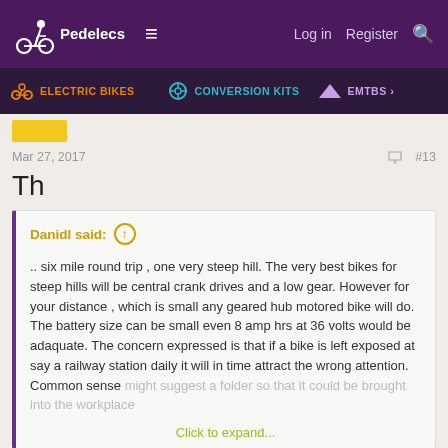Pedelecs | Log in | Register
ELECTRIC BIKES | CONVERSION KITS | EMTBS
Mar 27, 2017  #13
Th
Danidl said:
.. six mile round trip , one very steep hill. The very best bikes for steep hills will be central crank drives and a low gear. However for your distance , which is small any geared hub motored bike will do. The battery size can be small even 8 amp hrs at 36 volts would be adaquate. The concern expressed is that if a bike is left exposed at say a railway station daily it will in time attract the wrong attention. Common sense might suggest a folder so that it could be brought into the workplace
Click to expand...